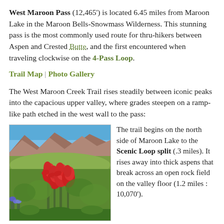West Maroon Pass (12,465') is located 6.45 miles from Maroon Lake in the Maroon Bells-Snowmass Wilderness. This stunning pass is the most commonly used route for thru-hikers between Aspen and Crested Butte, and the first encountered when traveling clockwise on the 4-Pass Loop.
Trail Map | Photo Gallery
The West Maroon Creek Trail rises steadily between iconic peaks into the capacious upper valley, where grades steepen on a ramp-like path etched in the west wall to the pass:
[Figure (photo): Red wildflowers (Indian paintbrush) in a green mountain meadow with rocky peaks and blue sky in the background]
The trail begins on the north side of Maroon Lake to the Scenic Loop split (.3 miles). It rises away into thick aspens that break across an open rock field on the valley floor (1.2 miles : 10,070').
Pick your way through talus to a crest, and drop to the Maroon Snowmass – West Maroon Creek Trail split (1.7 miles : 10,110'). Bear left and head up the west side of Cre...